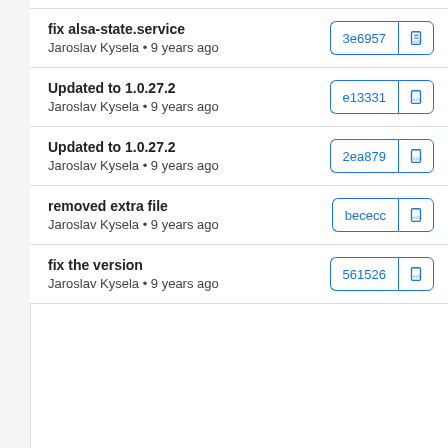fix alsa-state.service
Jaroslav Kysela • 9 years ago
3e6957
Updated to 1.0.27.2
Jaroslav Kysela • 9 years ago
e13331
Updated to 1.0.27.2
Jaroslav Kysela • 9 years ago
2ea879
removed extra file
Jaroslav Kysela • 9 years ago
bececc
fix the version
Jaroslav Kysela • 9 years ago
561526